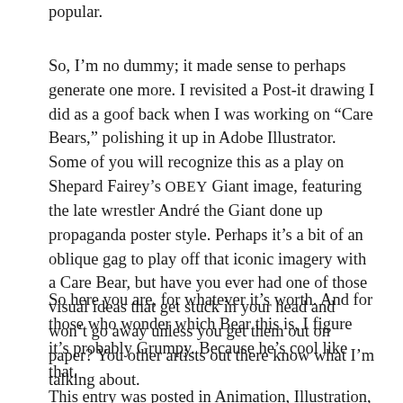popular.
So, I'm no dummy; it made sense to perhaps generate one more. I revisited a Post-it drawing I did as a goof back when I was working on “Care Bears,” polishing it up in Adobe Illustrator. Some of you will recognize this as a play on Shepard Fairey’s OBEY Giant image, featuring the late wrestler André the Giant done up propaganda poster style. Perhaps it’s a bit of an oblique gag to play off that iconic imagery with a Care Bear, but have you ever had one of those visual ideas that get stuck in your head and won’t go away unless you get them out on paper? You other artists out there know what I’m talking about.
So here you are, for whatever it’s worth. And for those who wonder which Bear this is, I figure it’s probably Grumpy. Because he’s cool like that.
This entry was posted in Animation, Illustration, Personal and tagged